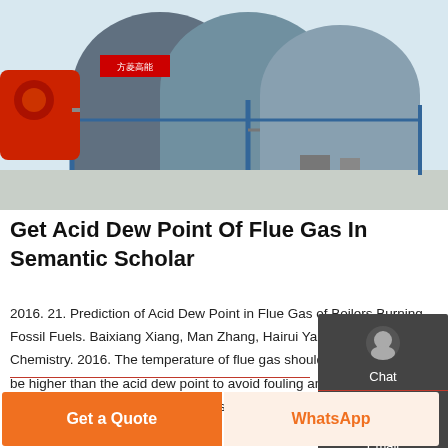[Figure (photo): Industrial boiler equipment in a factory setting — large cylindrical boiler tanks with blue metal frames and red burner components on the left side, in an industrial facility.]
Get Acid Dew Point Of Flue Gas In Semantic Scholar
2016. 21. Prediction of Acid Dew Point in Flue Gas of Boilers Burning Fossil Fuels. Baixiang Xiang, Man Zhang, Hairui Yang, Junfu Lu. Chemistry. 2016. The temperature of flue gas should be controlled to be higher than the acid dew point to avoid fouling and corrosion of heating surfaces in the second pass of boilers.